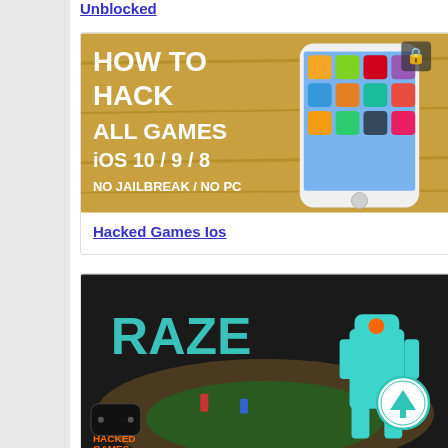Unblocked
[Figure (photo): How To Hack All Games iOS 10/9/8 No Jailbreak / No PC - promotional image with iPhone]
Hacked Games Ios
[Figure (screenshot): Raze game screenshot with futuristic robot character]
2 Player Games Hacked Unblocked
[Figure (screenshot): Partial screenshot of another game at bottom of page]